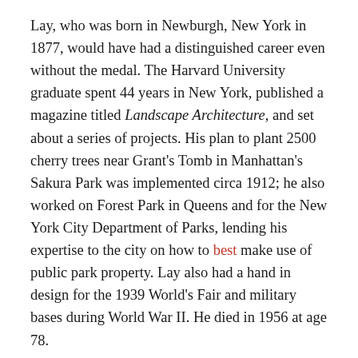Lay, who was born in Newburgh, New York in 1877, would have had a distinguished career even without the medal. The Harvard University graduate spent 44 years in New York, published a magazine titled Landscape Architecture, and set about a series of projects. His plan to plant 2500 cherry trees near Grant's Tomb in Manhattan's Sakura Park was implemented circa 1912; he also worked on Forest Park in Queens and for the New York City Department of Parks, lending his expertise to the city on how to best make use of public park property. Lay also had a hand in design for the 1939 World's Fair and military bases during World War II. He died in 1956 at age 78.
As for why Lay seemed to break through a German-dominated field: The architect lived in Germany for a period of time to study their architecture and apparently picked up some tips that Olympic judges appreciated.
The Olympics of Town Planning didn't necessarily consider whether something was ever implemented, which was a good